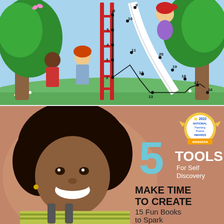[Figure (illustration): Children's activity book illustration showing three cartoon children near a red ladder and slide in a garden with trees. A dot-to-dot puzzle is overlaid with numbers 2 through 20, forming the shape of a slide. Numbered dots connected by black lines.]
[Figure (photo): Photo of a smiling young Black girl with curly hair wearing a striped shirt and backpack straps. Overlaid text reads '5 TOOLS For Self Discovery' and 'MAKE TIME TO CREATE 15 Fun Books to Spark'. A 2022 National Parenting Product Awards Winner badge appears in the top right corner.]